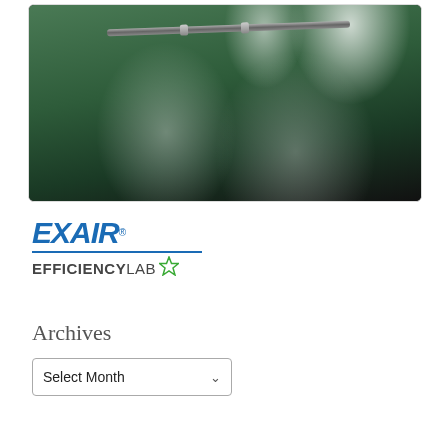[Figure (photo): Industrial spray nozzle mounted on a pipe bar, spraying mist/particles over green fabric or material on a surface. Photo is dark with bright spray fans visible.]
[Figure (logo): EXAIR Efficiency Lab logo: EXAIR in bold italic blue with registered trademark symbol, blue underline, then EFFICIENCYLAB in bold/regular dark text with a green star icon.]
Archives
Select Month